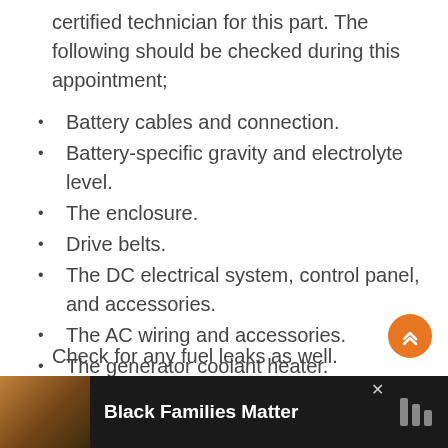certified technician for this part. The following should be checked during this appointment;
Battery cables and connection.
Battery-specific gravity and electrolyte level.
The enclosure.
Drive belts.
The DC electrical system, control panel, and accessories.
The AC wiring and accessories.
The generator coolant heater.
The connections and coolant lines.
The lubrication system connectors and hoses.
Check for any fuel leaks as well.